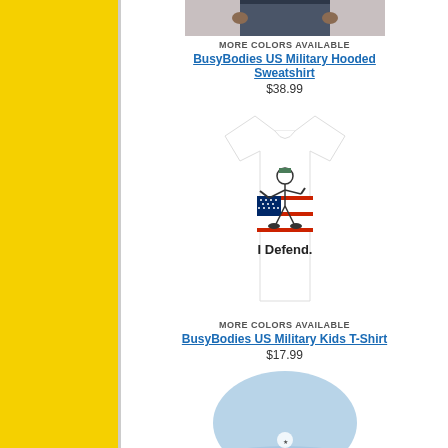MORE COLORS AVAILABLE
BusyBodies US Military Hooded Sweatshirt
$38.99
[Figure (photo): BusyBodies US Military Kids T-Shirt on white background with stick figure soldier and American flag graphic, text 'I Defend.']
MORE COLORS AVAILABLE
BusyBodies US Military Kids T-Shirt
$17.99
[Figure (photo): Light blue baby bucket hat with small BusyBodies logo]